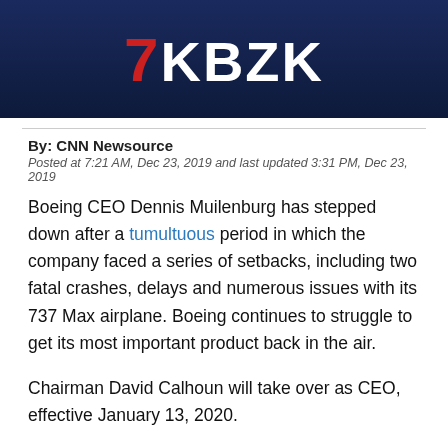[Figure (logo): KBZK news station logo on dark navy blue background with red and white branding]
By: CNN Newsource
Posted at 7:21 AM, Dec 23, 2019 and last updated 3:31 PM, Dec 23, 2019
Boeing CEO Dennis Muilenburg has stepped down after a tumultuous period in which the company faced a series of setbacks, including two fatal crashes, delays and numerous issues with its 737 Max airplane. Boeing continues to struggle to get its most important product back in the air.
Chairman David Calhoun will take over as CEO, effective January 13, 2020.